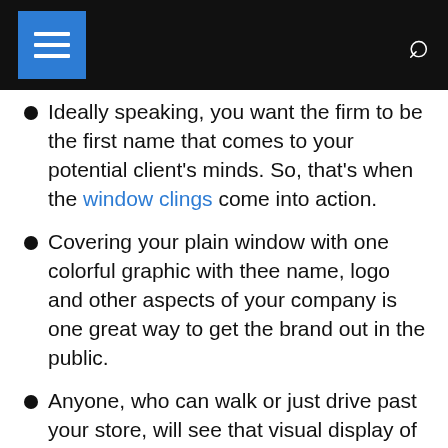Ideally speaking, you want the firm to be the first name that comes to your potential client's minds. So, that's when the window clings come into action.
Covering your plain window with one colorful graphic with thee name, logo and other aspects of your company is one great way to get the brand out in the public.
Anyone, who can walk or just drive past your store, will see that visual display of your brand. As many people will pass your store on a daily basis, you can gain major attraction from potential clients.
The transparency and quality of the clings: